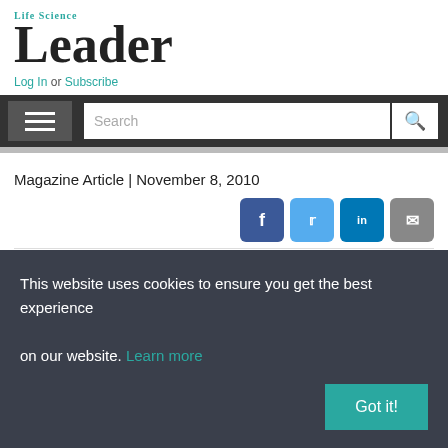Life Science Leader
Log In or Subscribe
Search
Magazine Article | November 8, 2010
[Figure (other): Social share buttons: Facebook, Twitter, LinkedIn, Email]
The Cure For Transporting Time-
This website uses cookies to ensure you get the best experience on our website. Learn more
Got it!